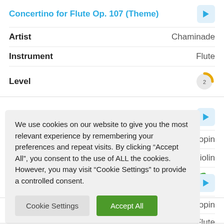Concertino for Flute Op. 107 (Theme)
Artist: Chaminade
Instrument: Flute
Level: 2
Artist: Chopin
Instrument: Violin
Level: 1
Artist: Chopin
Instrument: Flute
Level: 1
We use cookies on our website to give you the most relevant experience by remembering your preferences and repeat visits. By clicking “Accept All”, you consent to the use of ALL the cookies. However, you may visit “Cookie Settings” to provide a controlled consent.
Cookie Settings
Accept All